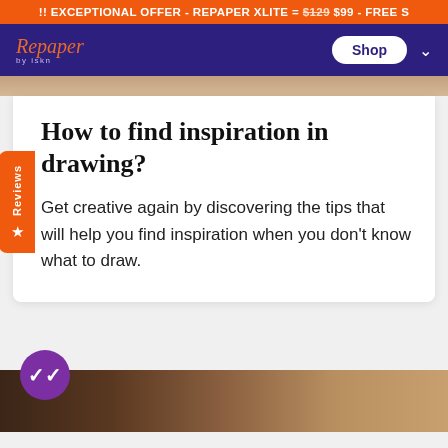!! EXCEPTIONAL OFFER - REPAPER XLITE = $129 $99 - FREE S
Repaper by iskn — Shop
How to find inspiration in drawing?
Get creative again by discovering the tips that will help you find inspiration when you don't know what to draw.